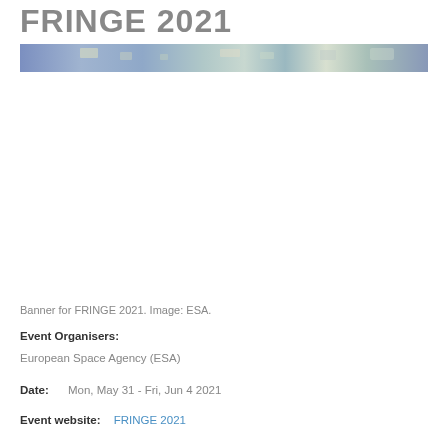FRINGE 2021
[Figure (photo): Banner image for FRINGE 2021 showing colorful satellite imagery in shades of blue, green, and purple. Image credit: ESA.]
Banner for FRINGE 2021. Image: ESA.
Event Organisers:
European Space Agency (ESA)
Date:   Mon, May 31 - Fri, Jun 4 2021
Event website:   FRINGE 2021